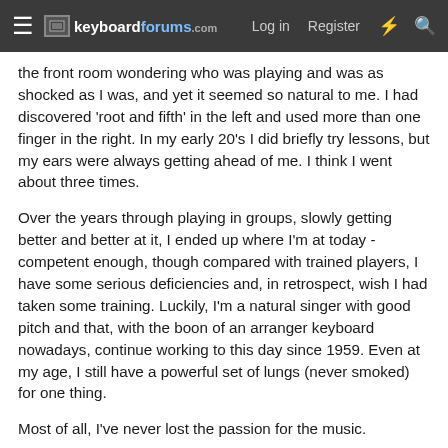keyboardforums.com  Log in  Register
the front room wondering who was playing and was as shocked as I was, and yet it seemed so natural to me. I had discovered 'root and fifth' in the left and used more than one finger in the right. In my early 20's I did briefly try lessons, but my ears were always getting ahead of me. I think I went about three times.
Over the years through playing in groups, slowly getting better and better at it, I ended up where I'm at today - competent enough, though compared with trained players, I have some serious deficiencies and, in retrospect, wish I had taken some training. Luckily, I'm a natural singer with good pitch and that, with the boon of an arranger keyboard nowadays, continue working to this day since 1959. Even at my age, I still have a powerful set of lungs (never smoked) for one thing.
Most of all, I've never lost the passion for the music.
Last edited: Dec 3, 2019